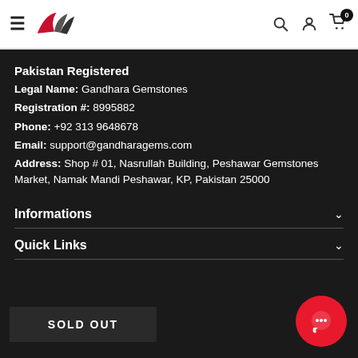Gandhara Gemstones – navigation header with logo, search, account, cart (0)
Pakistan Registered
Legal Name: Gandhara Gemstones
Registration #: 8995882
Phone: +92 313 9648678
Email: support@gandharagems.com
Address: Shop # 01, Nasrullah Building, Peshawar Gemstones Market, Namak Mandi Peshawar, KP, Pakistan 25000
Informations
Quick Links